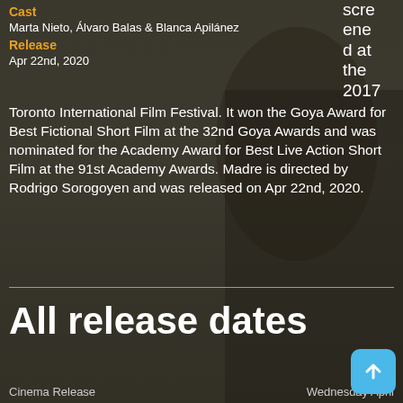Cast
Marta Nieto, Álvaro Balas & Blanca Apilánez
Release
Apr 22nd, 2020
scre ene d at the 2017
Toronto International Film Festival. It won the Goya Award for Best Fictional Short Film at the 32nd Goya Awards and was nominated for the Academy Award for Best Live Action Short Film at the 91st Academy Awards. Madre is directed by Rodrigo Sorogoyen and was released on Apr 22nd, 2020.
All release dates
Cinema Release
Wednesday April